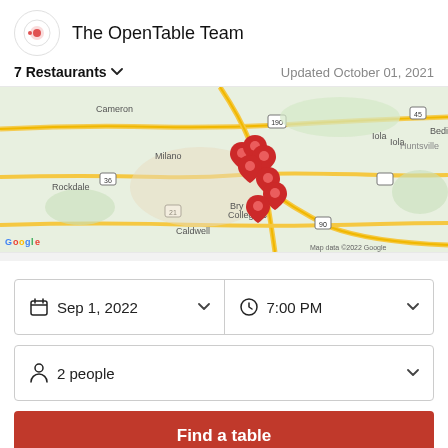[Figure (logo): OpenTable logo circle with red target/dot icon]
The OpenTable Team
7 Restaurants
Updated October 01, 2021
[Figure (map): Google Maps view showing Bryan/College Station Texas area with red map pin markers clustered in center. Labels include Cameron, Milano, Rockdale, Iola, Bedias, Huntsville, Richards, Caldwell, Google, Map data ©2022 Google, route numbers 190, 45, 36, 21, 90, 30]
Sep 1, 2022
7:00 PM
2 people
Find a table